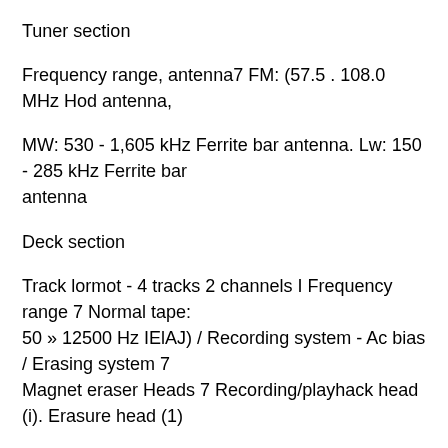Tuner section
Frequency range, antenna7 FM: (57.5 . 108.0 MHz Hod antenna,
MW: 530 - 1,605 kHz Ferrite bar antenna. Lw: 150 - 285 kHz Ferrite bar antenna
Deck section
Track lormot - 4 tracks 2 channels I Frequency range 7 Normal tape:
50 » 12500 Hz IElAJ) / Recording system - Ac bias / Erasing system 7
Magnet eraser Heads 7 Recording/playhack head (i). Erasure head (1)
CD player seclion
Disc - compact disc/ Scanning method - Non-contact